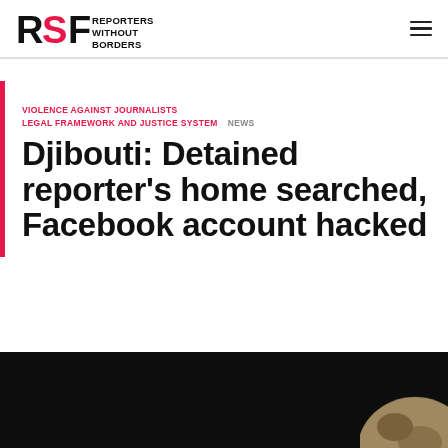RSF REPORTERS WITHOUT BORDERS
VIOLENCE AGAINST JOURNALISTS LEGAL FRAMEWORK AND JUSTICE SYSTEM NEWS
Djibouti: Detained reporter's home searched, Facebook account hacked
[Figure (photo): Dark background with partial globe/earth image visible at bottom right corner]